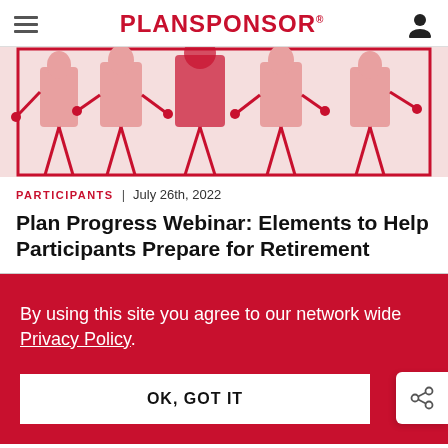PLANSPONSOR
[Figure (illustration): Illustration of people in red and pink tones, shown from waist down, standing in a row with outstretched hands, against a red-bordered background.]
PARTICIPANTS | July 26th, 2022
Plan Progress Webinar: Elements to Help Participants Prepare for Retirement
By using this site you agree to our network wide Privacy Policy.
OK, GOT IT